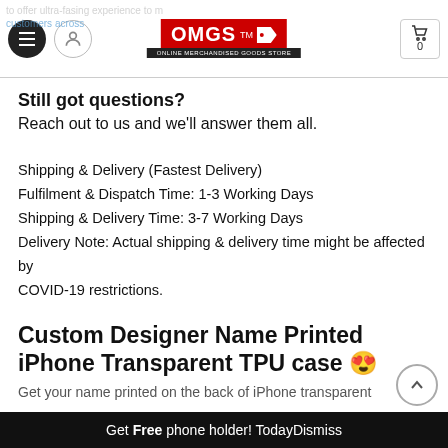OMGS Online Merchandised Goods Store — header with hamburger, user icon, logo, cart
Still got questions?
Reach out to us and we'll answer them all.
Shipping & Delivery (Fastest Delivery)
Fulfilment & Dispatch Time: 1-3 Working Days
Shipping & Delivery Time: 3-7 Working Days
Delivery Note: Actual shipping & delivery time might be affected by
COVID-19 restrictions.
Custom Designer Name Printed iPhone Transparent TPU case 😍
Get your name printed on the back of iPhone transparent...
Get Free phone holder! Today Dismiss